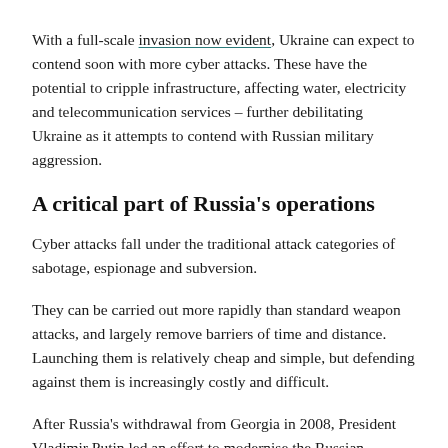With a full-scale invasion now evident, Ukraine can expect to contend soon with more cyber attacks. These have the potential to cripple infrastructure, affecting water, electricity and telecommunication services – further debilitating Ukraine as it attempts to contend with Russian military aggression.
A critical part of Russia's operations
Cyber attacks fall under the traditional attack categories of sabotage, espionage and subversion.
They can be carried out more rapidly than standard weapon attacks, and largely remove barriers of time and distance. Launching them is relatively cheap and simple, but defending against them is increasingly costly and difficult.
After Russia's withdrawal from Georgia in 2008, President Vladimir Putin led an effort to modernise the Russian military and incorporate cyber strategies. State sanctioned...